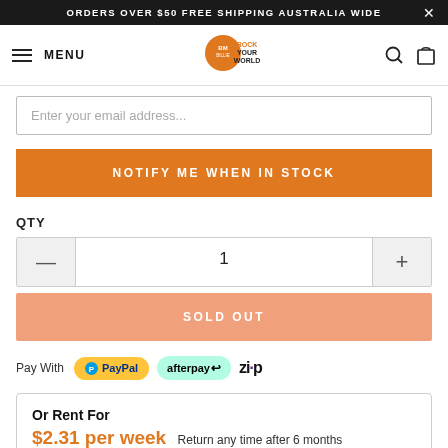ORDERS OVER $50 FREE SHIPPING AUSTRALIA WIDE
[Figure (logo): BM Rock Your World logo with menu, search and cart icons]
Enter your email address...
NOTIFY ME WHEN IN STOCK
QTY
1
SOLD OUT
Pay With PayPal afterpay zip
Or Rent For
$2.31 per week Return any time after 6 months